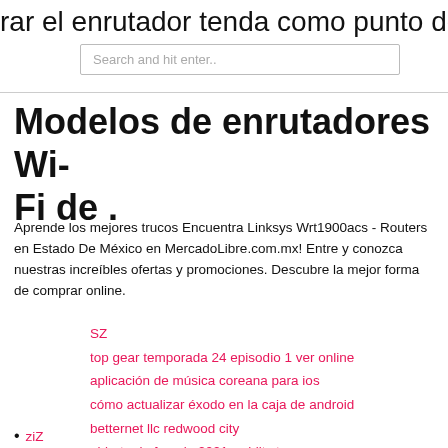rar el enrutador tenda como punto de
Search and hit enter..
Modelos de enrutadores Wi-Fi de .
Aprende los mejores trucos Encuentra Linksys Wrt1900acs - Routers en Estado De México en MercadoLibre.com.mx! Entre y conozca nuestras increíbles ofertas y promociones. Descubre la mejor forma de comprar online.
SZ
top gear temporada 24 episodio 1 ver online
aplicación de música coreana para ios
cómo actualizar éxodo en la caja de android
betternet llc redwood city
abierto de francia 2021 reddit streams
transmisión de tv laliga 123
¿puedo cambiar mi ip a otro país_
ziZ